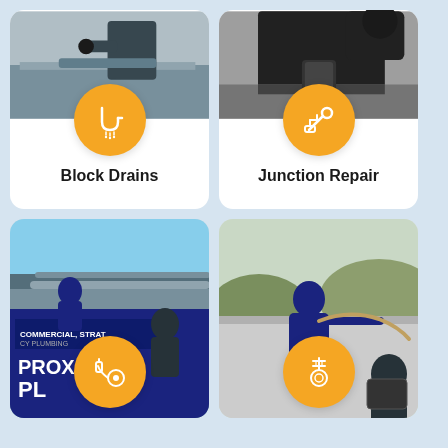[Figure (infographic): Service card: Block Drains. Photo of plumber working outdoors, orange circle icon with drain/pipe symbol, bold text 'Block Drains']
[Figure (infographic): Service card: Junction Repair. Photo of plumber working on underground junction, orange circle icon with wrench/pipe fitting symbol, bold text 'Junction Repair']
[Figure (infographic): Service card bottom-left: Photo of Proximity Plumbing van and workers on rooftop with pipes, orange circle icon with reel/hose symbol]
[Figure (infographic): Service card bottom-right: Photo of plumber using drain snake on rooftop, orange circle icon with drain coil/cable symbol]